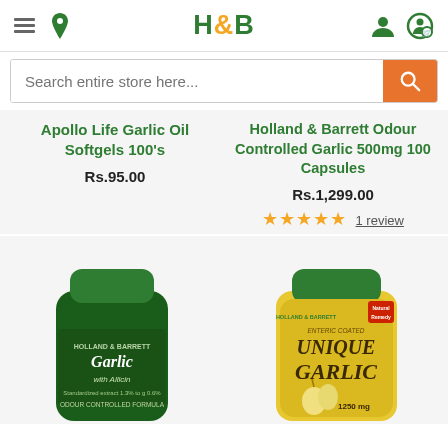H&B — Holland & Barrett store header with hamburger menu, location pin, H&B logo, user icon, and cart icon
Search entire store here...
Apollo Life Garlic Oil Softgels 100's
Rs.95.00
Holland & Barrett Odour Controlled Garlic 500mg 100 Capsules
Rs.1,299.00
★★★★★ 1 review
[Figure (photo): Holland & Barrett Garlic with Allicin dark green supplement bottle, partially visible]
[Figure (photo): Holland & Barrett Unique Garlic 1250mg yellow supplement bottle, partially visible]